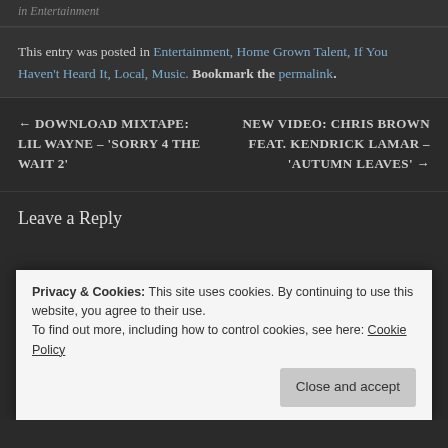in Entertainment
This entry was posted in Entertainment, Home Grown Talent, If You Haven't Heard It, Local, Music. Bookmark the permalink.
← DOWNLOAD MIXTAPE: LIL WAYNE – 'SORRY 4 THE WAIT 2'
NEW VIDEO: CHRIS BROWN FEAT. KENDRICK LAMAR – 'AUTUMN LEAVES' →
Leave a Reply
Privacy & Cookies: This site uses cookies. By continuing to use this website, you agree to their use.
To find out more, including how to control cookies, see here: Cookie Policy